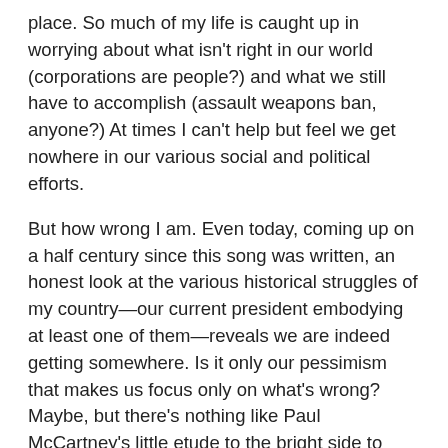place. So much of my life is caught up in worrying about what isn't right in our world (corporations are people?) and what we still have to accomplish (assault weapons ban, anyone?) At times I can't help but feel we get nowhere in our various social and political efforts.
But how wrong I am. Even today, coming up on a half century since this song was written, an honest look at the various historical struggles of my country—our current president embodying at least one of them—reveals we are indeed getting somewhere. Is it only our pessimism that makes us focus only on what's wrong? Maybe, but there's nothing like Paul McCartney's little etude to the bright side to make me understand the world isn't entirely going to hell in a hand basket.
Until the first chorus.
I've got to admit it's getting better, a little better, all the